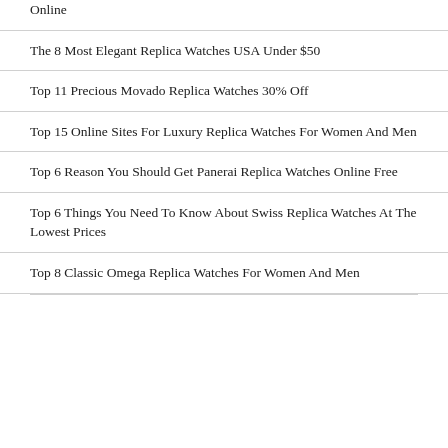Online
The 8 Most Elegant Replica Watches USA Under $50
Top 11 Precious Movado Replica Watches 30% Off
Top 15 Online Sites For Luxury Replica Watches For Women And Men
Top 6 Reason You Should Get Panerai Replica Watches Online Free
Top 6 Things You Need To Know About Swiss Replica Watches At The Lowest Prices
Top 8 Classic Omega Replica Watches For Women And Men